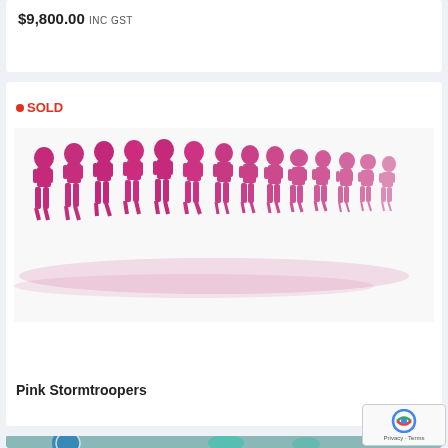$9,800.00 inc GST
•SOLD
[Figure (illustration): Pink screenprint artwork showing a row of marching stormtrooper figures rendered in magenta/pink ink on white background, in a pop-art style]
Pink Stormtroopers
[Figure (photo): Partial view of another artwork at the bottom of the page showing a Pan Am globe logo and teal/turquoise colored elements against a muted background]